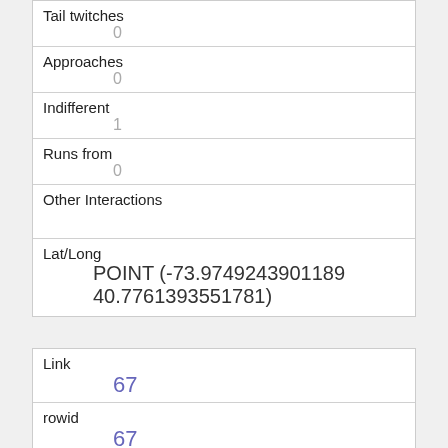| Tail twitches | 0 |
| Approaches | 0 |
| Indifferent | 1 |
| Runs from | 0 |
| Other Interactions |  |
| Lat/Long | POINT (-73.9749243901189 40.7761393551781) |
| Link | 67 |
| rowid | 67 |
| longitude | -73.968381325559 |
| latitude | 40.7790143443779 |